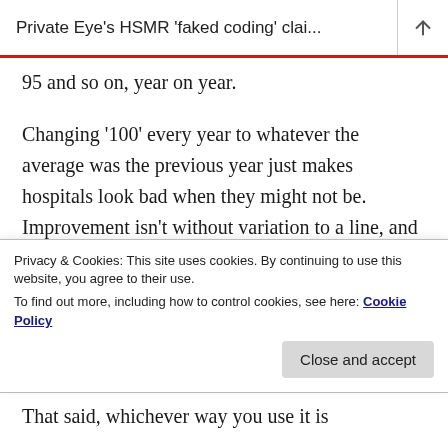Private Eye's HSMR 'faked coding' clai...
95 and so on, year on year.
Changing '100' every year to whatever the average was the previous year just makes hospitals look bad when they might not be. Improvement isn't without variation to a line, and the different case mixes etc at hospitals might make different rates of improvement unavoidable, no matter how
Privacy & Cookies: This site uses cookies. By continuing to use this website, you agree to their use.
To find out more, including how to control cookies, see here: Cookie Policy
That said, whichever way you use it is